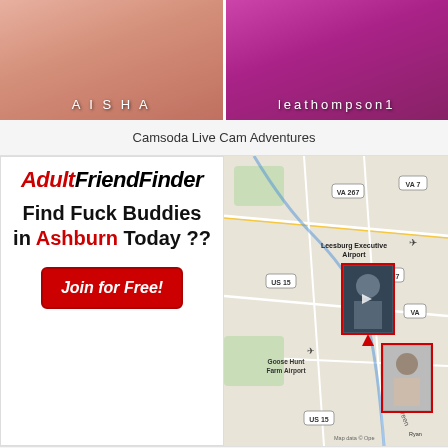[Figure (screenshot): Two live cam thumbnails side by side: left shows 'AISHA', right shows 'leathompson1']
Camsoda Live Cam Adventures
[Figure (infographic): AdultFriendFinder advertisement with logo, text 'Find Fuck Buddies in Ashburn Today ??' and 'Join for Free!' button alongside a map showing Leesburg area with user photos]
Find Sexy Singles in Ashburn!